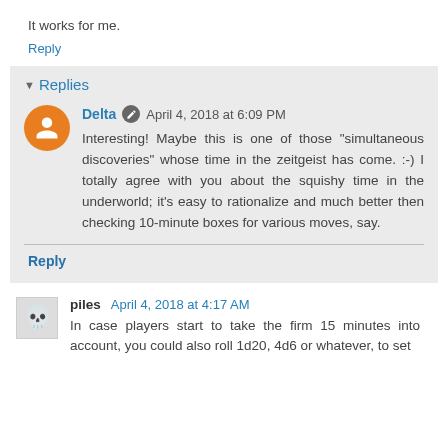It works for me.
Reply
Replies
Delta  April 4, 2018 at 6:09 PM
Interesting! Maybe this is one of those "simultaneous discoveries" whose time in the zeitgeist has come. :-) I totally agree with you about the squishy time in the underworld; it's easy to rationalize and much better then checking 10-minute boxes for various moves, say.
Reply
piles  April 4, 2018 at 4:17 AM
In case players start to take the firm 15 minutes into account, you could also roll 1d20, 4d6 or whatever, to set